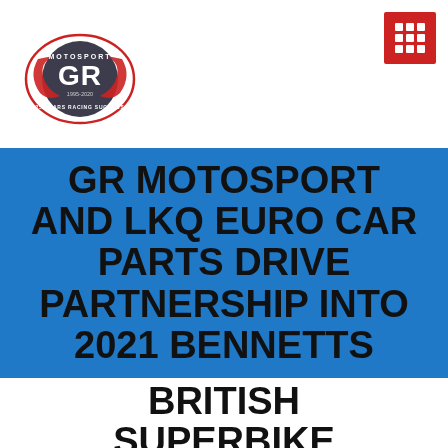[Figure (logo): GR Motosport logo – circular emblem with stylized 'GR' letters, motosport text, 1995-2020 25 years racing success text]
GR MOTOSPORT AND LKQ EURO CAR PARTS DRIVE PARTNERSHIP INTO 2021 BENNETTS BRITISH SUPERBIKE CHAMPIONSHIP
[Figure (photo): Racing motorcycle and rider on track, bottom of page]